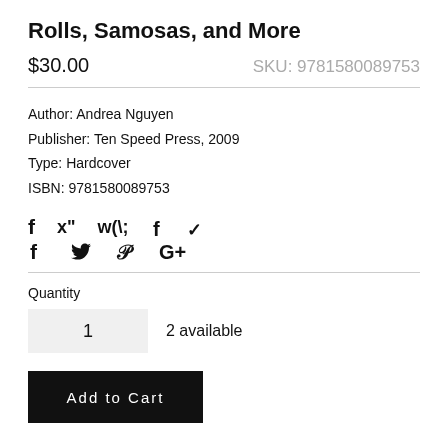Rolls, Samosas, and More
$30.00   SKU: 9781580089753
Author: Andrea Nguyen
Publisher: Ten Speed Press, 2009
Type: Hardcover
ISBN: 9781580089753
[Figure (other): Social media icons: Facebook (f), Twitter (bird), Pinterest (P), Google+ (G+)]
Quantity
1   2 available
Add to Cart